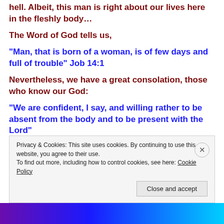hell. Albeit, this man is right about our lives here in the fleshly body…
The Word of God tells us,
“Man, that is born of a woman, is of few days and full of trouble” Job 14:1
Nevertheless, we have a great consolation, those who know our God:
“We are confident, I say, and willing rather to be absent from the body and to be present with the Lord”
Privacy & Cookies: This site uses cookies. By continuing to use this website, you agree to their use.
To find out more, including how to control cookies, see here: Cookie Policy